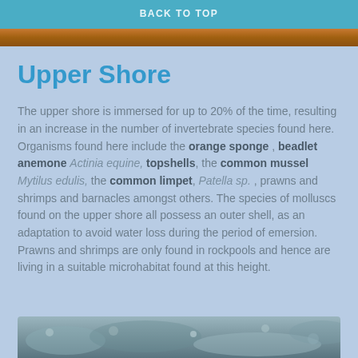BACK TO TOP
Upper Shore
The upper shore is immersed for up to 20% of the time, resulting in an increase in the number of invertebrate species found here. Organisms found here include the orange sponge , beadlet anemone Actinia equine, topshells, the common mussel Mytilus edulis, the common limpet, Patella sp. , prawns and shrimps and barnacles amongst others. The species of molluscs found on the upper shore all possess an outer shell, as an adaptation to avoid water loss during the period of emersion. Prawns and shrimps are only found in rockpools and hence are living in a suitable microhabitat found at this height.
[Figure (photo): Photo of marine organisms on upper shore, showing barnacles and molluscs on rocks]